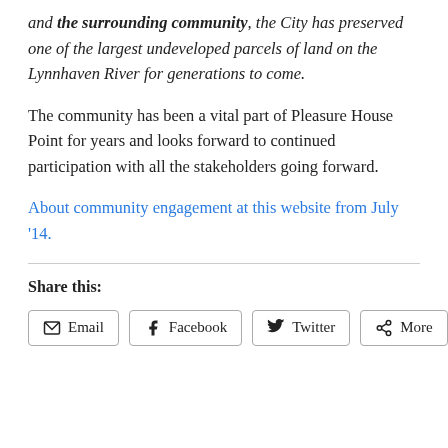and the surrounding community, the City has preserved one of the largest undeveloped parcels of land on the Lynnhaven River for generations to come.
The community has been a vital part of Pleasure House Point for years and looks forward to continued participation with all the stakeholders going forward.
About community engagement at this website from July '14.
Share this:
Email | Facebook | Twitter | More